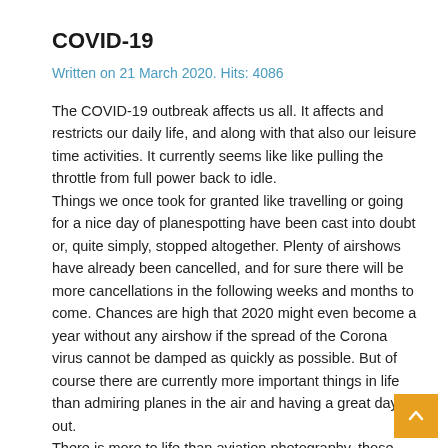COVID-19
Written on 21 March 2020. Hits: 4086
The COVID-19 outbreak affects us all. It affects and restricts our daily life, and along with that also our leisure time activities. It currently seems like like pulling the throttle from full power back to idle.
Things we once took for granted like travelling or going for a nice day of planespotting have been cast into doubt or, quite simply, stopped altogether. Plenty of airshows have already been cancelled, and for sure there will be more cancellations in the following weeks and months to come. Chances are high that 2020 might even become a year without any airshow if the spread of the Corona virus cannot be damped as quickly as possible. But of course there are currently more important things in life than admiring planes in the air and having a great day out. There is more to life than aviation photography, those